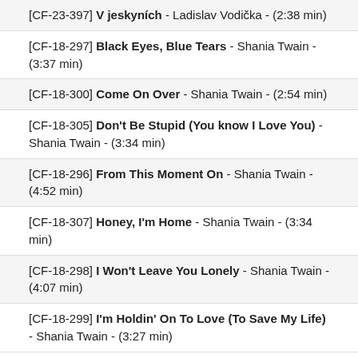[CF-23-397] V jeskyních - Ladislav Vodička - (2:38 min)
[CF-18-297] Black Eyes, Blue Tears - Shania Twain - (3:37 min)
[CF-18-300] Come On Over - Shania Twain - (2:54 min)
[CF-18-305] Don't Be Stupid (You know I Love You) - Shania Twain - (3:34 min)
[CF-18-296] From This Moment On - Shania Twain - (4:52 min)
[CF-18-307] Honey, I'm Home - Shania Twain - (3:34 min)
[CF-18-298] I Won't Leave You Lonely - Shania Twain - (4:07 min)
[CF-18-299] I'm Holdin' On To Love (To Save My Life) - Shania Twain - (3:27 min)